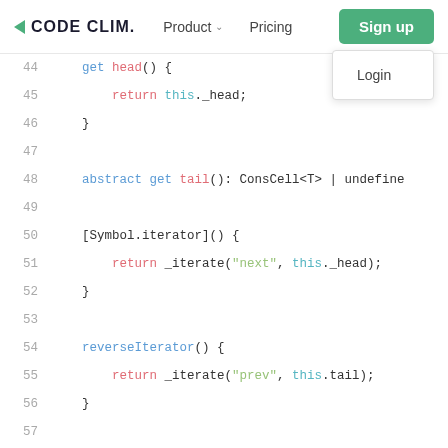CODE CLIM. | Product | Pricing | Sign up | Login
[Figure (screenshot): Code editor screenshot showing TypeScript/JavaScript class code with syntax highlighting. Lines 44-59 visible. Navigation bar with CODE CLIM. logo, Product, Pricing nav links, Sign up button (green), and Login dropdown visible at top.]